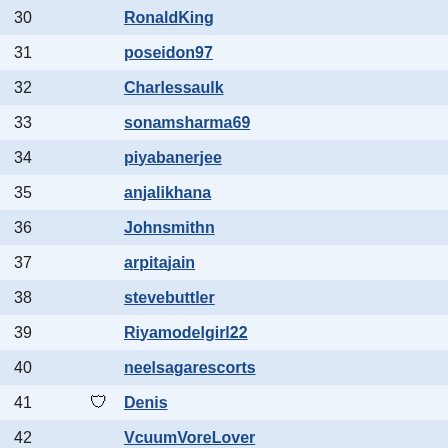| # |  | Username |
| --- | --- | --- |
| 30 |  | RonaldKing |
| 31 |  | poseidon97 |
| 32 |  | Charlessaulk |
| 33 |  | sonamsharma69 |
| 34 |  | piyabanerjee |
| 35 |  | anjalikhana |
| 36 |  | Johnsmithn |
| 37 |  | arpitajain |
| 38 |  | stevebuttler |
| 39 |  | Riyamodelgirl22 |
| 40 |  | neelsagarescorts |
| 41 | 🛡 | Denis |
| 42 |  | VcuumVoreLover |
| 43 |  | ajallen |
| 44 |  | quicksandfreak69 |
| 45 |  | S10xtremenlow |
| 46 |  | goshuraReort |
| 47 |  | zolojinnReort |
| 48 |  | diranReort |
| 49 |  | sboricic |